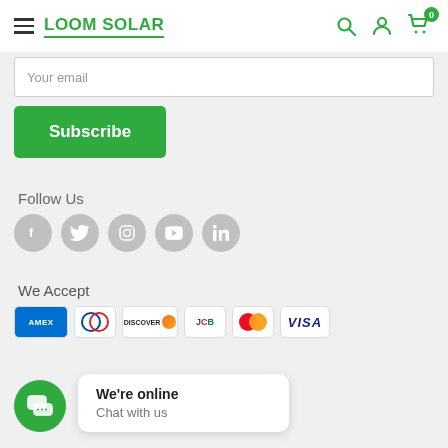LOOM SOLAR
Your email
Subscribe
Follow Us
[Figure (illustration): Social media icons: Facebook, Twitter, Instagram, YouTube, LinkedIn]
We Accept
[Figure (illustration): Payment method logos: AMEX, Diners Club, Discover, JCB, Mastercard, VISA]
We're online
Chat with us